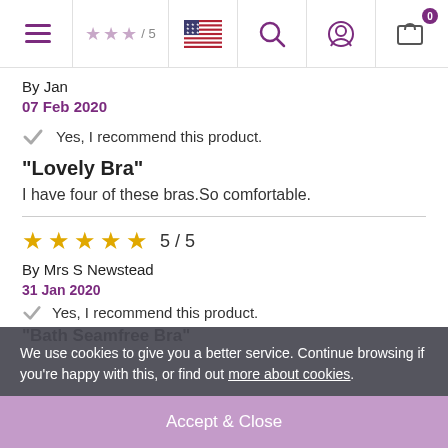Navigation bar with hamburger menu, star rating (partial), US flag, search, account, and cart icons
By Jan
07 Feb 2020
Yes, I recommend this product.
"Lovely Bra"
I have four of these bras.So comfortable.
[Figure (other): 5 gold stars rating: 5 / 5]
By Mrs S Newstead
31 Jan 2020
Yes, I recommend this product.
"Bath Seamfree Bra"
We use cookies to give you a better service. Continue browsing if you're happy with this, or find out more about cookies.
Accept & Close